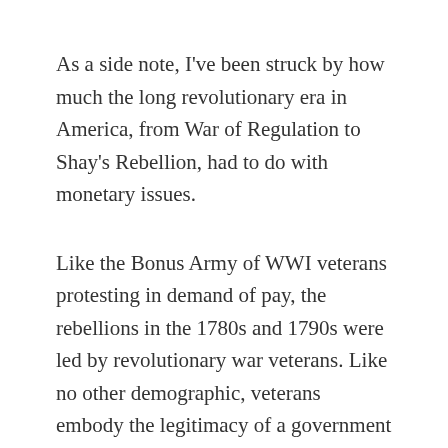As a side note, I've been struck by how much the long revolutionary era in America, from War of Regulation to Shay's Rebellion, had to do with monetary issues.
Like the Bonus Army of WWI veterans protesting in demand of pay, the rebellions in the 1780s and 1790s were led by revolutionary war veterans. Like no other demographic, veterans embody the legitimacy of a government or lack thereof. They represent the genuine civic-minded citizen who is